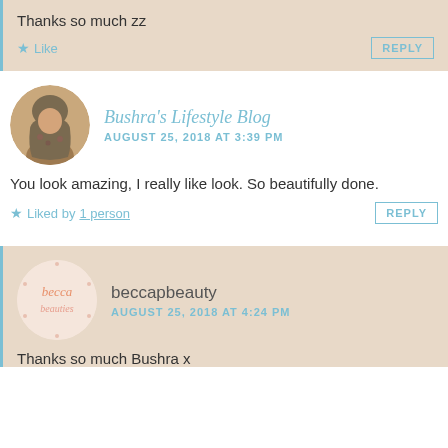Thanks so much zz
Like
REPLY
Bushra's Lifestyle Blog
AUGUST 25, 2018 AT 3:39 PM
You look amazing, I really like look. So beautifully done.
Liked by 1 person
REPLY
[Figure (photo): Avatar of beccapbeauty - circular logo with becca branding text]
beccapbeauty
AUGUST 25, 2018 AT 4:24 PM
Thanks so much Bushra x